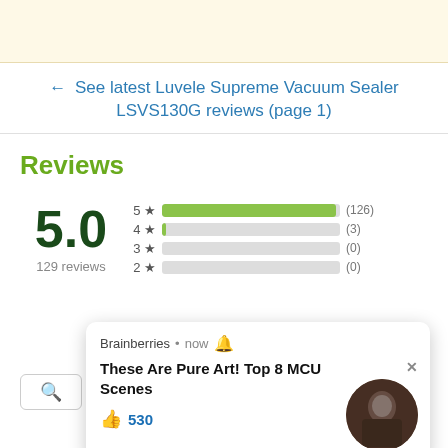← See latest Luvele Supreme Vacuum Sealer LSVS130G reviews (page 1)
Reviews
[Figure (bar-chart): Rating distribution]
5.0
129 reviews
Brainberries • now 🔔
These Are Pure Art! Top 8 MCU Scenes
👍 530